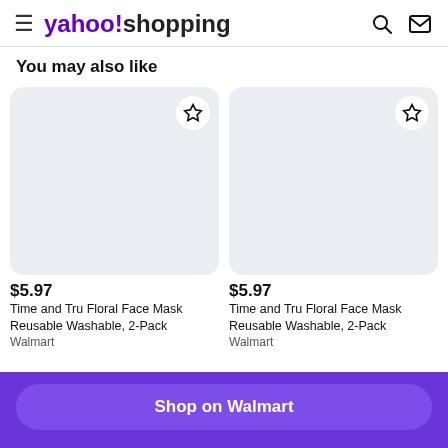yahoo!shopping
You may also like
[Figure (screenshot): Product card 1 - empty light grey product image placeholder with star/wishlist button]
$5.97
Time and Tru Floral Face Mask Reusable Washable, 2-Pack
Walmart
[Figure (screenshot): Product card 2 - empty light grey product image placeholder with star/wishlist button]
$5.97
Time and Tru Floral Face Mask Reusable Washable, 2-Pack
Walmart
Shop on Walmart